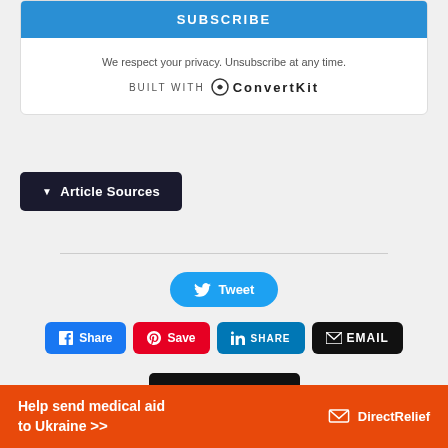SUBSCRIBE
We respect your privacy. Unsubscribe at any time.
BUILT WITH ConvertKit
▼ Article Sources
Tweet
Share
Save
SHARE
EMAIL
PRINT
Help send medical aid to Ukraine >>